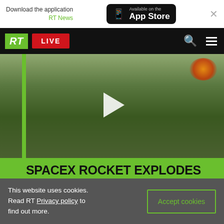Download the application RT News — Available on the App Store
[Figure (screenshot): RT News website navigation bar with RT logo, LIVE button, search and menu icons]
[Figure (screenshot): Video thumbnail showing SpaceX rocket explosion with play button overlay, green banner with headline: SPACEX ROCKET EXPLODES DURING PRE-LAUNCH TEST]
SPACEX ROCKET EXPLODES DURING PRE-LAUNCH TEST
This website uses cookies. Read RT Privacy policy to find out more.